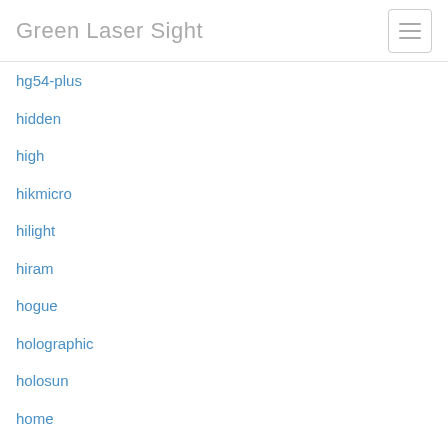Green Laser Sight
hg54-plus
hidden
high
hikmicro
hilight
hiram
hogue
holographic
holosun
home
honest
hr54-rechargeable